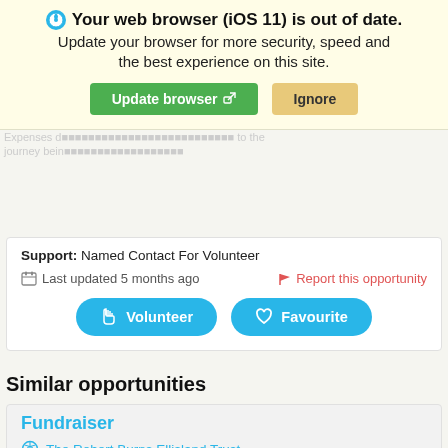[Figure (screenshot): Browser update notification banner: icon, 'Your web browser (iOS 11) is out of date.' bold heading, 'Update your browser for more security, speed and the best experience on this site.' body text, green 'Update browser' button and tan 'Ignore' button.]
Support: Named Contact For Volunteer
Last updated 5 months ago
Report this opportunity
Volunteer
Favourite
Similar opportunities
Fundraiser
The Robert Burns Ellisland Trust
Are you interested in history? Do you like Robert Burns? The Robert Burns Ellisland Trust is looking to recruit volunteer